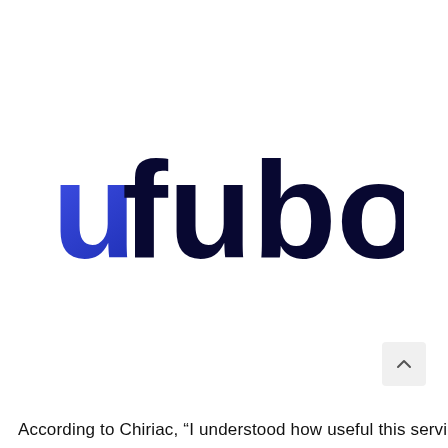[Figure (logo): Fubo TV logo: lowercase 'ufubo' where the 'u' is blue and 'fubo' is dark navy, bold rounded sans-serif font]
[Figure (other): Scroll-to-top button: light gray rounded rectangle with upward-pointing chevron]
According to Chiriac, “I understood how useful this service